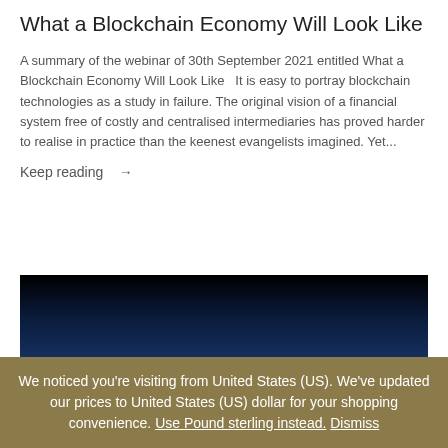What a Blockchain Economy Will Look Like
A summary of the webinar of 30th September 2021 entitled What a Blockchain Economy Will Look Like  It is easy to portray blockchain technologies as a study in failure. The original vision of a financial system free of costly and centralised intermediaries has proved harder to realise in practice than the keenest evangelists imagined. Yet...
Keep reading  →
[Figure (photo): Dark blue gradient image, transitioning from black at top to deep navy blue at bottom, used as a decorative banner or article image.]
We noticed you're visiting from United States (US). We've updated our prices to United States (US) dollar for your shopping convenience. Use Pound sterling instead. Dismiss